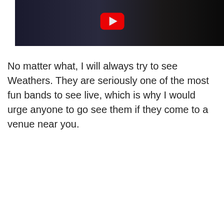[Figure (screenshot): YouTube video embed showing dark concert footage with a red YouTube play button centered at the top]
No matter what, I will always try to see Weathers. They are seriously one of the most fun bands to see live, which is why I would urge anyone to go see them if they come to a venue near you.
[Figure (screenshot): YouTube video embed titled 'C'est La Vie at th...' with avatar, playlist icon, and circle chevron button in header, colorful concert lighting in background with large red YouTube play button]